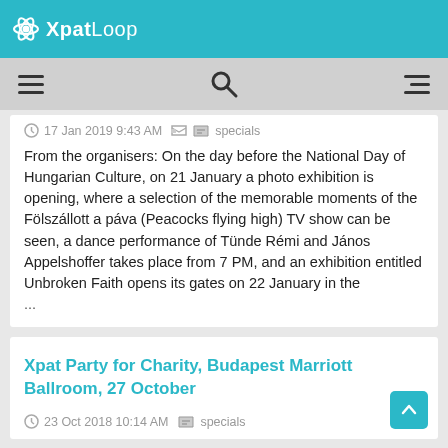XpatLoop
17 Jan 2019 9:43 AM  specials
From the organisers: On the day before the National Day of Hungarian Culture, on 21 January a photo exhibition is opening, where a selection of the memorable moments of the  Fölszállott a páva (Peacocks flying high) TV show can be seen, a dance performance of Tünde Rémi and János Appelshoffer takes place from 7 PM, and an exhibition entitled Unbroken Faith opens its gates on 22 January in the ...
Xpat Party for Charity, Budapest Marriott Ballroom, 27 October
23 Oct 2018 10:14 AM  specials